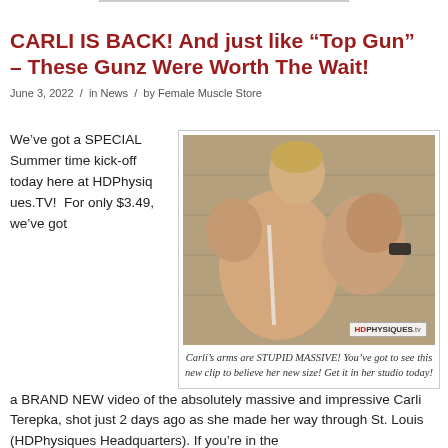CARLI IS BACK! And just like “Top Gun” – These Gunz Were Worth The Wait!
June 3, 2022 / in News / by Female Muscle Store
We’ve got a SPECIAL Summer time kick-off today here at HDPhysiques.TV!  For only $3.49, we’ve got
[Figure (photo): Woman flexing large muscular arms, back view, outdoors against a stone wall. HDPhysiques.tv watermark.]
Carli’s arms are STUPID MASSIVE! You’ve got to see this new clip to believe her new size! Get it in her studio today!
a BRAND NEW video of the absolutely massive and impressive Carli Terepka, shot just 2 days ago as she made her way through St. Louis (HDPhysiques Headquarters). If you’re in the